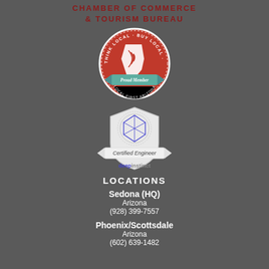CHAMBER OF COMMERCE & TOURISM BUREAU
[Figure (logo): Round red badge with 'THINK LOCAL · BUY LOCAL · BE LOCAL' text around the edge, Arizona state shape in white, and 'Proud Member LOCAL FIRST ARIZONA' text on a teal ribbon at bottom.]
[Figure (logo): Shield-shaped certification badge with geometric icosahedron design, 'Certified Engineer' text on a ribbon banner, and 'deepinstinct' logo below in blue and grey text.]
LOCATIONS
Sedona (HQ)
Arizona
(928) 399-7557
Phoenix/Scottsdale
Arizona
(602) 639-1482